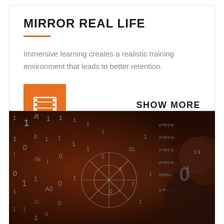MIRROR REAL LIFE
Immersive learning creates a realistic training environment that leads to better retention.
[Figure (screenshot): Orange square icon with a film/video reel symbol in white, alongside SHOW MORE text]
[Figure (photo): Photo of a person's head overlaid with binary code (0s and 1s), mathematical symbols, and digital data visualization on a dark reddish-brown background, representing digital/immersive learning technology]